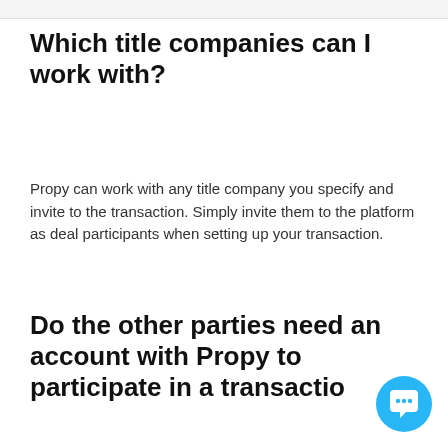Which title companies can I work with?
Propy can work with any title company you specify and invite to the transaction. Simply invite them to the platform as deal participants when setting up your transaction.
Do the other parties need an account with Propy to participate in a transaction